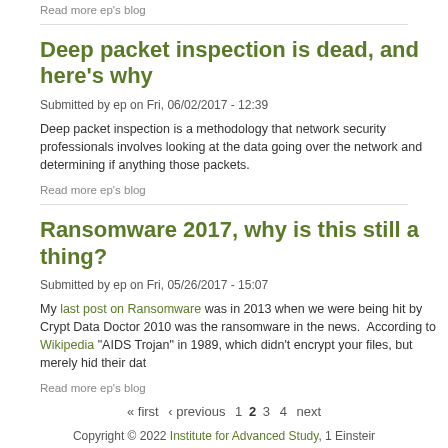Read more ep's blog
Deep packet inspection is dead, and here's why
Submitted by ep on Fri, 06/02/2017 - 12:39
Deep packet inspection is a methodology that network security professionals involves looking at the data going over the network and determining if anything those packets.
Read more ep's blog
Ransomware 2017, why is this still a thing?
Submitted by ep on Fri, 05/26/2017 - 15:07
My last post on Ransomware was in 2013 when we were being hit by Crypt Data Doctor 2010 was the ransomware in the news. According to Wikipedia "AIDS Trojan" in 1989, which didn't encrypt your files, but merely hid their dat
Read more ep's blog
« first ‹ previous 1 2 3 4 next
Copyright © 2022 Institute for Advanced Study, 1 Einstein